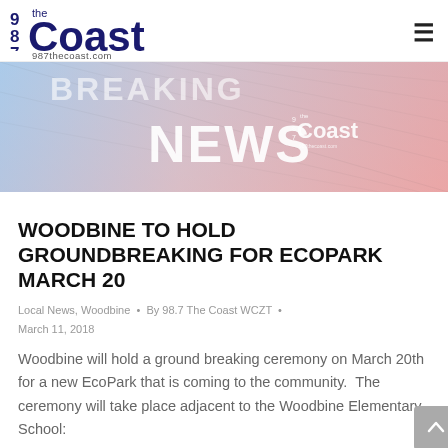98.7 the Coast — 987thecoast.com
[Figure (illustration): Breaking News banner image with '98.7 the Coast' logo, text 'BREAKING NEWS' and 'NEWS' on a red-blue gradient background with newspaper texture]
WOODBINE TO HOLD GROUNDBREAKING FOR ECOPARK MARCH 20
Local News, Woodbine · By 98.7 The Coast WCZT · March 11, 2018
Woodbine will hold a ground breaking ceremony on March 20th for a new EcoPark that is coming to the community. The ceremony will take place adjacent to the Woodbine Elementary School: